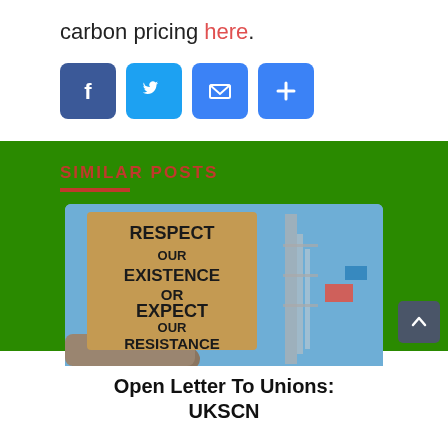carbon pricing here.
[Figure (infographic): Social sharing icons: Facebook (blue), Twitter (blue), Email (blue envelope), Plus/more (blue)]
SIMILAR POSTS
[Figure (photo): Protest photo showing a cardboard sign reading RESPECT OUR EXISTENCE OR EXPECT OUR RESISTANCE, held up at a demonstration with buildings and blue sky in the background]
Open Letter To Unions: UKSCN